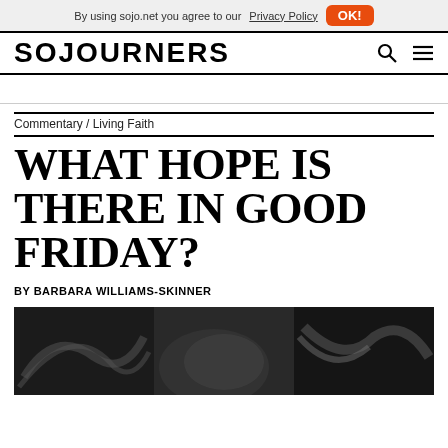By using sojo.net you agree to our Privacy Policy   OK!
SOJOURNERS
Commentary / Living Faith
WHAT HOPE IS THERE IN GOOD FRIDAY?
BY BARBARA WILLIAMS-SKINNER
[Figure (photo): Black and white abstract/artistic photograph used as article header image]